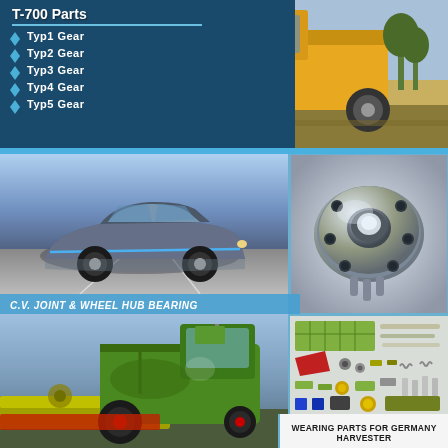T-700 Parts
Typ1 Gear
Typ2 Gear
Typ3 Gear
Typ4 Gear
Typ5 Gear
[Figure (photo): Yellow heavy tractor/earth mover vehicle outdoors]
[Figure (photo): Silver BMW i8 sports car on road]
[Figure (photo): Wheel hub bearing component, metallic]
C.V. JOINT & WHEEL HUB BEARING
[Figure (photo): Green CLAAS harvester agricultural machine]
[Figure (photo): Disassembled wearing parts/components for Germany harvester]
WEARING PARTS FOR GERMANY HARVESTER